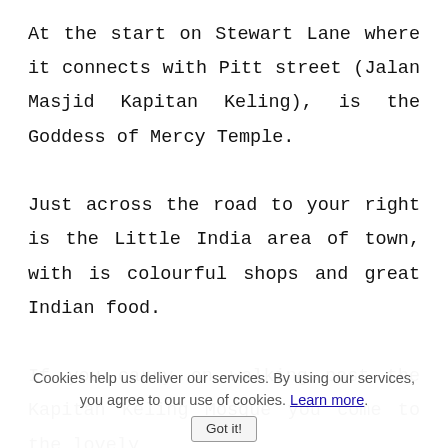At the start on Stewart Lane where it connects with Pitt street (Jalan Masjid Kapitan Keling), is the Goddess of Mercy Temple.

Just across the road to your right is the Little India area of town, with is colourful shops and great Indian food.

If you carry on walking past the Kapitan Keling Mosque you come to the lovely
Cookies help us deliver our services. By using our services, you agree to our use of cookies. Learn more. Got it!